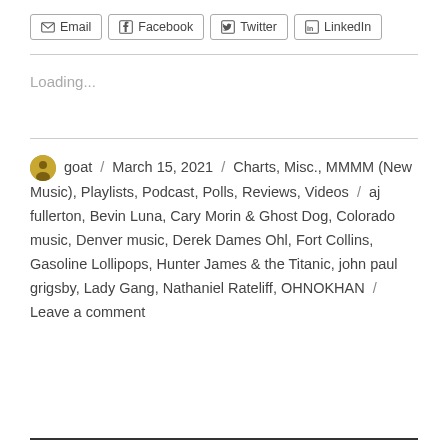Email / Facebook / Twitter / LinkedIn (social share buttons)
Loading...
goat / March 15, 2021 / Charts, Misc., MMMM (New Music), Playlists, Podcast, Polls, Reviews, Videos / aj fullerton, Bevin Luna, Cary Morin & Ghost Dog, Colorado music, Denver music, Derek Dames Ohl, Fort Collins, Gasoline Lollipops, Hunter James & the Titanic, john paul grigsby, Lady Gang, Nathaniel Rateliff, OHNOKHAN / Leave a comment